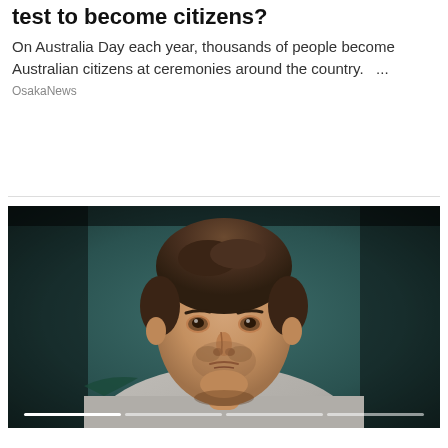test to become citizens?
On Australia Day each year, thousands of people become Australian citizens at ceremonies around the country.   ...
OsakaNews
[Figure (photo): Close-up photograph of a young man with short brown hair and light stubble, wearing a grey jacket with dark green and white collar trim, against a blurred dark teal background.]